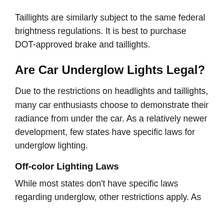Taillights are similarly subject to the same federal brightness regulations. It is best to purchase DOT-approved brake and taillights.
Are Car Underglow Lights Legal?
Due to the restrictions on headlights and taillights, many car enthusiasts choose to demonstrate their radiance from under the car. As a relatively newer development, few states have specific laws for underglow lighting.
Off-color Lighting Laws
While most states don't have specific laws regarding underglow, other restrictions apply. As